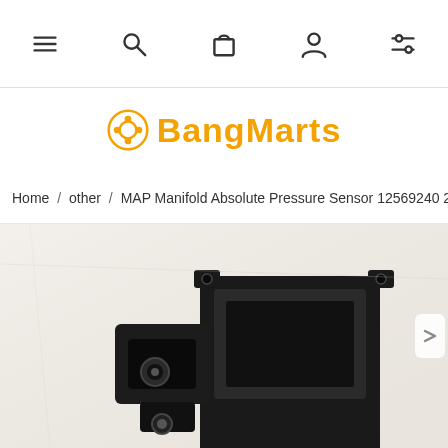Navigation bar with menu, search, cart, account, and filter icons
BangMarts
Home / other / MAP Manifold Absolute Pressure Sensor 12569240 213-1545
[Figure (photo): Product photo of a black MAP Manifold Absolute Pressure Sensor 12569240 213-1545, showing the plastic housing with connector and mounting tabs, on a light beige/white background.]